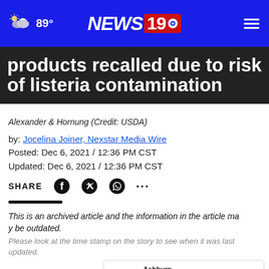89° NEWS 19
products recalled due to risk of listeria contamination
Alexander & Hornung (Credit: USDA)
by: Jocelina Joiner, Nexstar Media Wire
Posted: Dec 6, 2021 / 12:36 PM CST
Updated: Dec 6, 2021 / 12:36 PM CST
SHARE
This is an archived article and the information in the article may be outdated.
Please look at the time stamp on the story to see when it was last updated.
(NEXS... calling